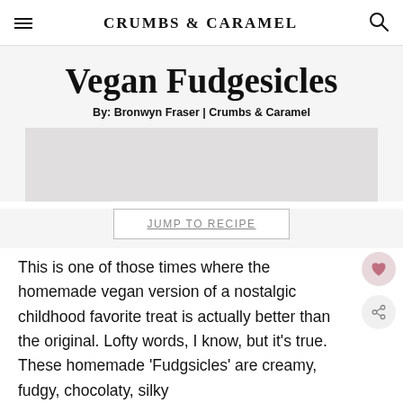CRUMBS & CARAMEL
Vegan Fudgesicles
By: Bronwyn Fraser | Crumbs & Caramel
JUMP TO RECIPE
This is one of those times where the homemade vegan version of a nostalgic childhood favorite treat is actually better than the original. Lofty words, I know, but it's true. These homemade 'Fudgsicles' are creamy, fudgy, chocolaty, silky